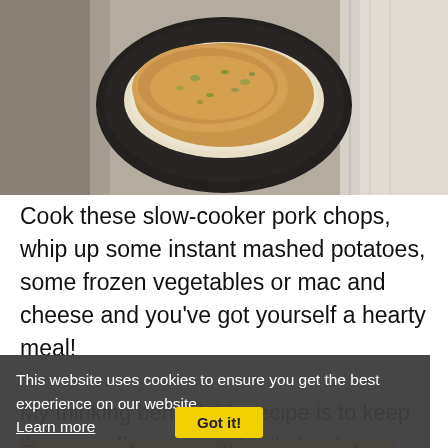[Figure (photo): Photo of a cooked pork chop with herbs on a dark plate, on a light gray textured background]
Cook these slow-cooker pork chops, whip up some instant mashed potatoes, some frozen vegetables or mac and cheese and you’ve got yourself a hearty meal!
My thinking behind this recipe is to keep the gravy flavor consistently beefy.
This website uses cookies to ensure you get the best experience on our website. Learn more
For example, you will see many slow-cooker pork chop recipes that call for cream of chicken and beef broth in the same recipe. I prefer not to mix